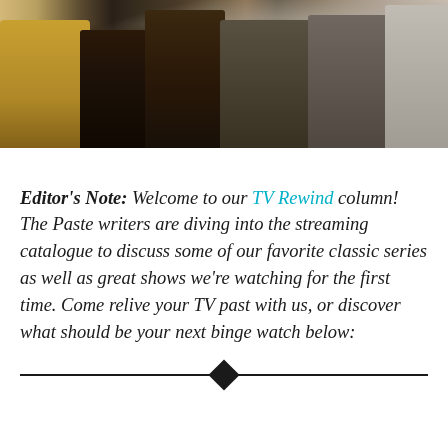[Figure (photo): A horizontal banner photo showing a group of people walking together, cropped to show their bodies from about the waist down or mid-torso. The image has warm and muted tones.]
Editor's Note: Welcome to our TV Rewind column! The Paste writers are diving into the streaming catalogue to discuss some of our favorite classic series as well as great shows we're watching for the first time. Come relive your TV past with us, or discover what should be your next binge watch below: